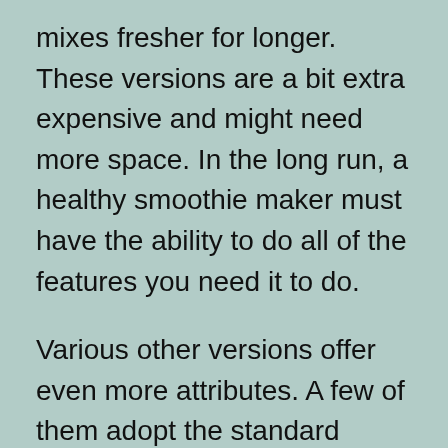mixes fresher for longer. These versions are a bit extra expensive and might need more space. In the long run, a healthy smoothie maker must have the ability to do all of the features you need it to do.
Various other versions offer even more attributes. A few of them adopt the standard pitcher look, however have various alterations. The spout enables you to easily pour in components. Other models come with a built-in stir stick, which allows you scratch the sides of the glass and make sure the components blend well. Those with a minimal spending plan